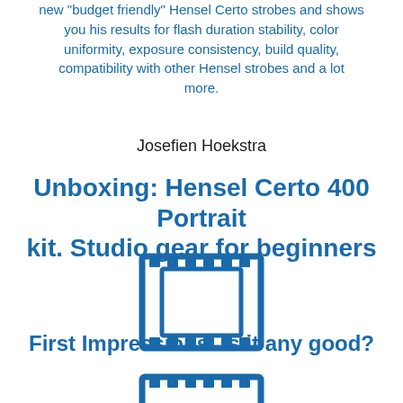new "budget friendly" Hensel Certo strobes and shows you his results for flash duration stability, color uniformity, exposure consistency, build quality, compatibility with other Hensel strobes and a lot more.
Josefien Hoekstra
Unboxing: Hensel Certo 400 Portrait kit. Studio gear for beginners
[Figure (illustration): Film strip / video icon in blue outline style]
First Impressions: Is it any good?
[Figure (illustration): Film strip / video icon in blue outline style (partially visible at bottom)]